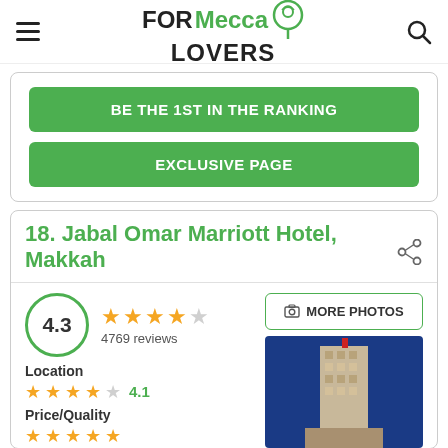FORMecca LOVERS
BE THE 1ST IN THE RANKING
EXCLUSIVE PAGE
18. Jabal Omar Marriott Hotel, Makkah
4.3  4769 reviews
MORE PHOTOS
Location  4.1
Price/Quality